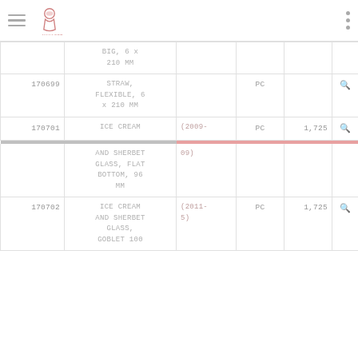Menu / Logo navigation header
| ID | Name | Note | Unit | Qty | Search |
| --- | --- | --- | --- | --- | --- |
|  | BIG, 6 x 210 MM |  |  |  |  |
| 170699 | STRAW, FLEXIBLE, 6 x 210 MM |  | PC |  | 🔍 |
| 170701 | ICE CREAM AND SHERBET GLASS, FLAT BOTTOM, 96 MM | (2009-09) | PC | 1,725 | 🔍 |
| 170702 | ICE CREAM AND SHERBET GLASS, GOBLET 100... | (2011-5) | PC | 1,725 | 🔍 |